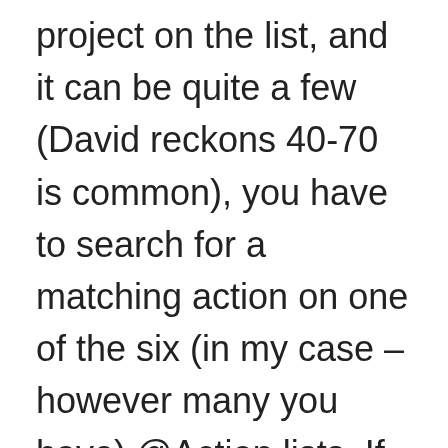project on the list, and it can be quite a few (David reckons 40-70 is common), you have to search for a matching action on one of the six (in my case – however many you have) @Action lists. If you don't find one, does that mean you just didn't look carefully enough, or is there really no action in your